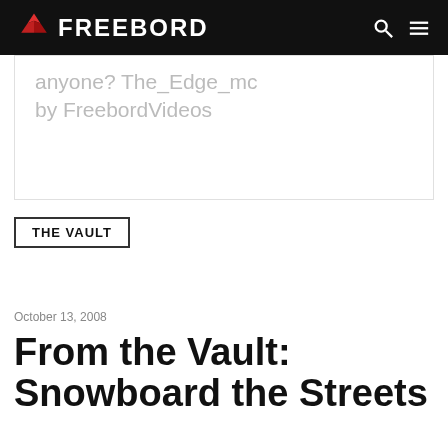FREEBORD
anyone? The_Edge_mc by FreebordVideos
THE VAULT
October 13, 2008
From the Vault: Snowboard the Streets